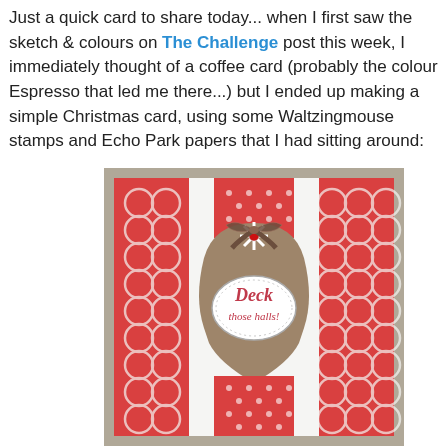Just a quick card to share today... when I first saw the sketch & colours on The Challenge post this week, I immediately thought of a coffee card (probably the colour Espresso that led me there...) but I ended up making a simple Christmas card, using some Waltzingmouse stamps and Echo Park papers that I had sitting around:
[Figure (photo): A handmade Christmas card featuring red and white patterned paper (quatrefoil and polka dot designs), a tan/brown ornament-shaped label holder with 'Deck those halls!' stamped inside an oval, a snowflake embellishment, and a plaid ribbon bow at the top center.]